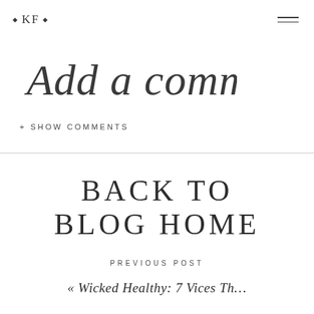• KF •
[Figure (other): Handwritten script text reading 'Add a comment']
+ SHOW COMMENTS
BACK TO BLOG HOME
PREVIOUS POST
« Wicked Healthy: 7 Vices Th…